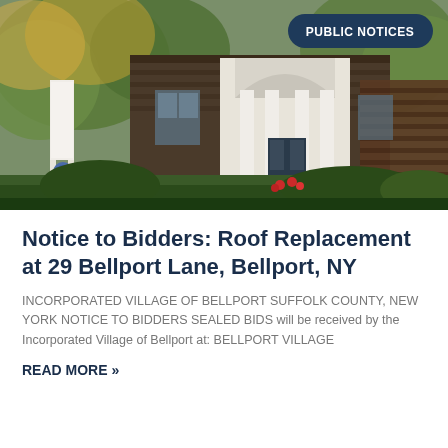[Figure (photo): Exterior photo of a colonial-style building with white columns and a sign for Bellport Village Hall, surrounded by green trees and shrubs with red flowers near the entrance steps. A PUBLIC NOTICES badge overlay appears in the upper right.]
Notice to Bidders: Roof Replacement at 29 Bellport Lane, Bellport, NY
INCORPORATED VILLAGE OF BELLPORT SUFFOLK COUNTY, NEW YORK NOTICE TO BIDDERS SEALED BIDS will be received by the Incorporated Village of Bellport at: BELLPORT VILLAGE
READ MORE »